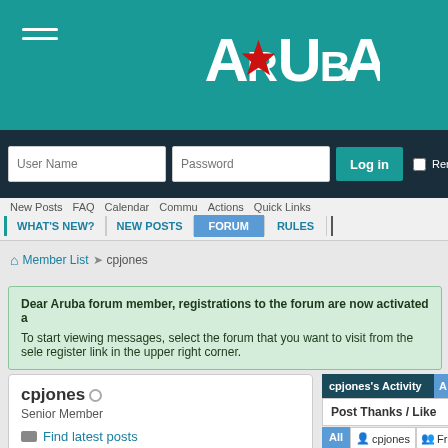[Figure (screenshot): Aruba forum website header with teal background and Aruba logo]
User Name  Password  Log in  Rem
New Posts  FAQ  Calendar  Commu  Actions  Quick Links
WHAT'S NEW?  NEW POSTS  FORUM  RULES
Member List  cpjones
Dear Aruba forum member, registrations to the forum are now activated a
To start viewing messages, select the forum that you want to visit from the sele register link in the upper right corner.
cpjones  Senior Member  Find latest posts  Find latest started threads
cpjones's Activity  Post Thanks / Like  All  cpjones  Friends